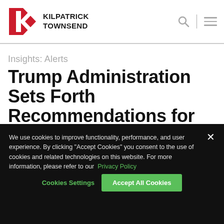Kilpatrick Townsend
Insights: Alerts
Trump Administration Sets Forth Recommendations for Consumer Finance
We use cookies to improve functionality, performance, and user experience. By clicking "Accept Cookies" you consent to the use of cookies and related technologies on this website. For more information, please refer to our Privacy Policy
Cookies Settings
Accept All Cookies